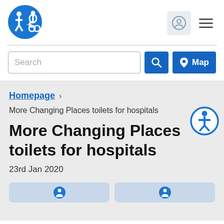[Figure (logo): Changing Places blue circular logo with accessibility icons (person walking and wheelchair user)]
[Figure (illustration): User account icon button (grey rounded square)]
[Figure (illustration): Hamburger menu icon (three lines)]
Search
[Figure (illustration): Search icon button (magnifying glass, blue square)]
[Figure (illustration): Map button with pin icon and text 'Map' (blue)]
Homepage
More Changing Places toilets for hospitals
More Changing Places toilets for hospitals
23rd Jan 2020
[Figure (illustration): Accessibility icon badge (blue circle with person symbol)]